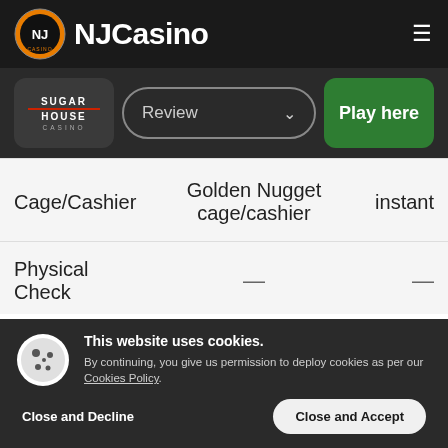NJCasino
[Figure (screenshot): SugarHouse Casino logo button with Review dropdown and Play here green button]
| Cage/Cashier | Golden Nugget cage/cashier | instant |
| --- | --- | --- |
| Physical Check | — | — |
This website uses cookies. By continuing, you give us permission to deploy cookies as per our Cookies Policy.
Close and Decline   Close and Accept